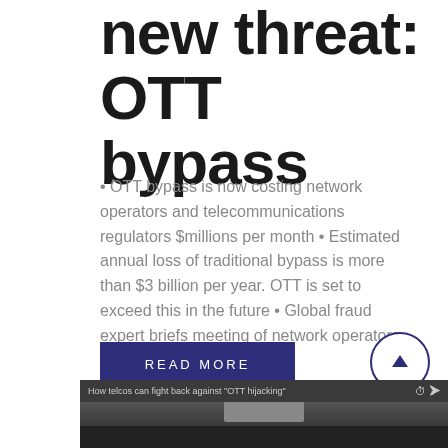new threat: OTT bypass
• OTT bypass is now costing network operators and telecommunications regulators $millions per month • Estimated annual loss of traditional bypass is more than $3 billion per year. OTT is set to exceed this in the future • Global fraud expert briefs meeting of network operators and…
READ MORE
[Figure (screenshot): Video thumbnail with title 'How telcos can fight back against "OTT hijacking"' with clock and share icons]
[Figure (other): Circular scroll-up button with upward arrow in dark navy color]